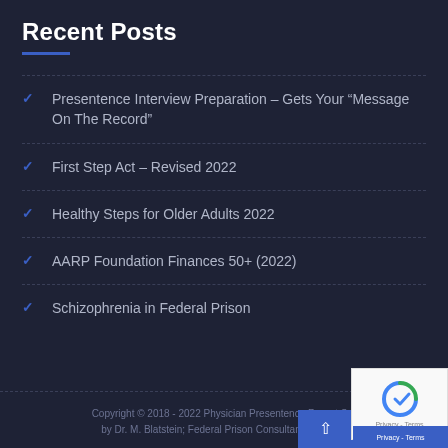Recent Posts
Presentence Interview Preparation – Gets Your “Message On The Record”
First Step Act – Revised 2022
Healthy Steps for Older Adults 2022
AARP Foundation Finances 50+ (2022)
Schizophrenia in Federal Prison
Copyright © 2018 - 2022 Physician Presentence Report Services by Dr. M. Blatstein; Federal Prison Consultant. All rights reserved.